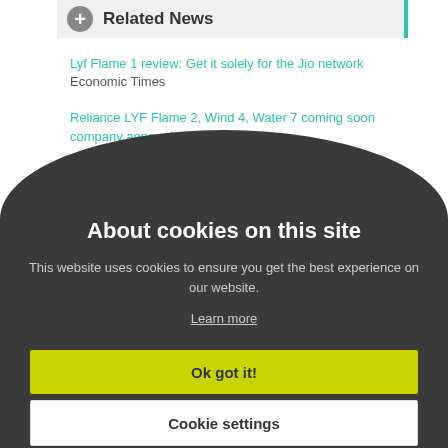Related News
Lyf Flame 1 review: Get it solely for the Jio network  Economic Times
Reliance LYF Flame 2, Wind 4, Water 7 coming soon company announces  Indian...
About cookies on this site
This website uses cookies to ensure you get the best experience on our website.
Learn more
Ok got it!
Cookie settings